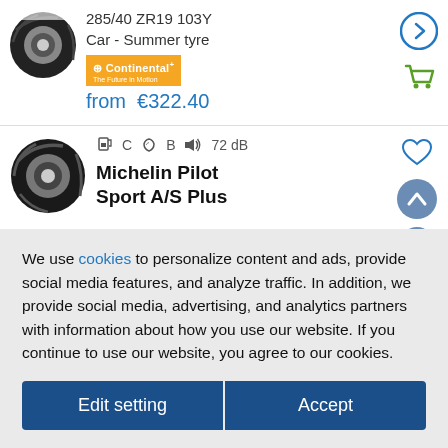[Figure (photo): Partial tire image at top, cropped]
285/40 ZR19 103Y
Car - Summer tyre
[Figure (logo): Continental brand logo, orange rectangle]
from  €322.40
[Figure (photo): Michelin Pilot Sport A/S Plus tire image]
C  B  72 dB
Michelin Pilot Sport A/S Plus
We use cookies to personalize content and ads, provide social media features, and analyze traffic. In addition, we provide social media, advertising, and analytics partners with information about how you use our website. If you continue to use our website, you agree to our cookies.
Edit setting
Accept